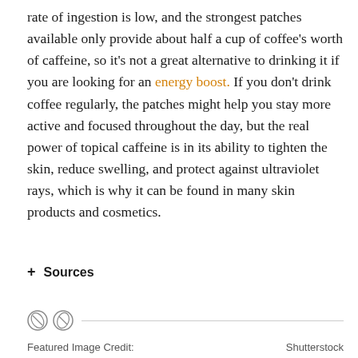rate of ingestion is low, and the strongest patches available only provide about half a cup of coffee's worth of caffeine, so it's not a great alternative to drinking it if you are looking for an energy boost. If you don't drink coffee regularly, the patches might help you stay more active and focused throughout the day, but the real power of topical caffeine is in its ability to tighten the skin, reduce swelling, and protect against ultraviolet rays, which is why it can be found in many skin products and cosmetics.
+ Sources
[Figure (illustration): Two coffee bean icons followed by a horizontal divider line]
Featured Image Credit:   Shutterstock